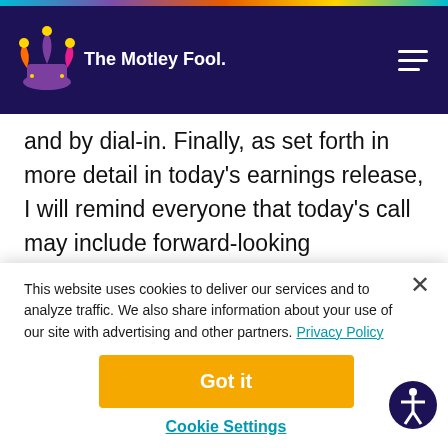The Motley Fool
and by dial-in. Finally, as set forth in more detail in today's earnings release, I will remind everyone that today's call may include forward-looking statements about Verisk's future performance. Actual performance could differ materially from what is suggested by our comments today.
This website uses cookies to deliver our services and to analyze traffic. We also share information about your use of our site with advertising and other partners. Privacy Policy
Got it
Cookie Settings